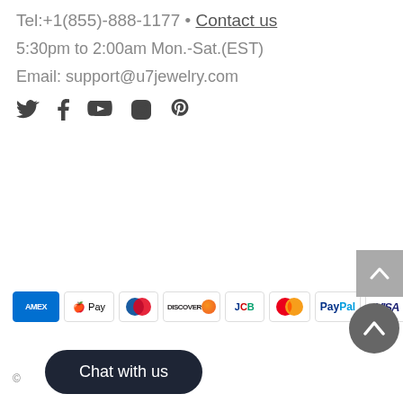Tel:+1(855)-888-1177 • Contact us
5:30pm to 2:00am Mon.-Sat.(EST)
Email: support@u7jewelry.com
[Figure (other): Social media icons: Twitter, Facebook, YouTube, Instagram, Pinterest]
[Figure (other): Payment method badges: AMEX, Apple Pay, Diners Club, Discover, JCB, Mastercard, PayPal, Visa]
[Figure (other): Back to top button (square grey) and circular grey back-to-top button with upward chevron]
©
Chat with us